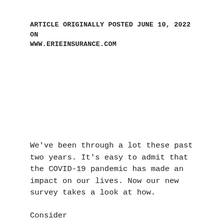ARTICLE ORIGINALLY POSTED JUNE 10, 2022 ON WWW.ERIEINSURANCE.COM
We've been through a lot these past two years. It's easy to admit that the COVID-19 pandemic has made an impact on our lives. Now our new survey takes a look at how.
Consider...